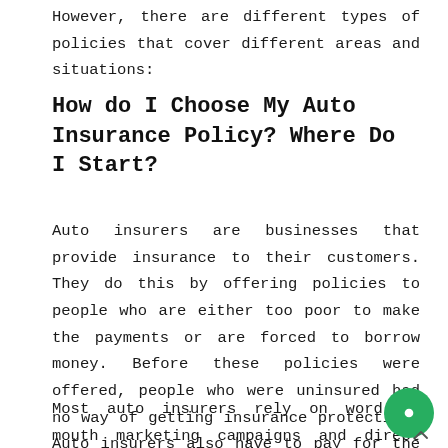However, there are different types of policies that cover different areas and situations:
How do I Choose My Auto Insurance Policy? Where Do I Start?
Auto insurers are businesses that provide insurance to their customers. They do this by offering policies to people who are either too poor to make the payments or are forced to borrow money. Before these policies were offered, people who were uninsured had no way of getting insurance protection. Auto insurers also have to pay for the repair of cars that they insure, which means that many auto insurers have a low profit margin.
Most auto insurers rely on word-of-mouth marketing campaigns and direct salespeople to help